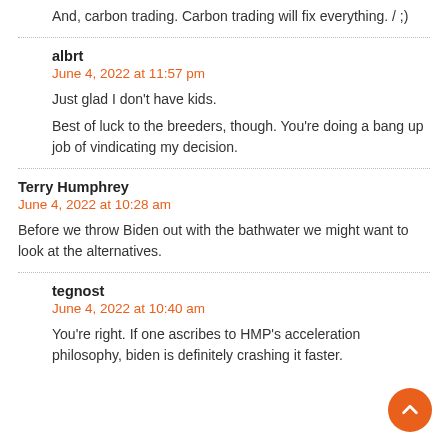And, carbon trading. Carbon trading will fix everything. / ;)
albrt
June 4, 2022 at 11:57 pm
Just glad I don't have kids.
Best of luck to the breeders, though. You're doing a bang up job of vindicating my decision.
Terry Humphrey
June 4, 2022 at 10:28 am
Before we throw Biden out with the bathwater we might want to look at the alternatives.
tegnost
June 4, 2022 at 10:40 am
You're right. If one ascribes to HMP's acceleration philosophy, biden is definitely crashing it faster.